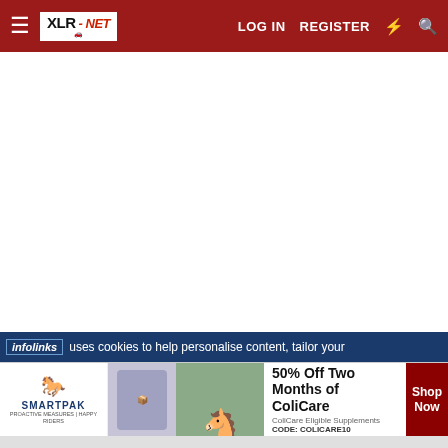XLR-NET — LOG IN  REGISTER
[Figure (screenshot): White blank content area of the webpage]
infolinks  uses cookies to help personalise content, tailor your
[Figure (infographic): SmartPak advertisement banner: 50% Off Two Months of ColiCare. ColiCare Eligible Supplements CODE: COLICARE10. Shop Now button.]